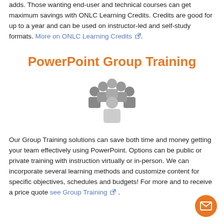adds. Those wanting end-user and technical courses can get maximum savings with ONLC Learning Credits. Credits are good for up to a year and can be used on instructor-led and self-study formats. More on ONLC Learning Credits.
PowerPoint Group Training
[Figure (illustration): Group of people icon representing group training — six silhouette figures arranged with one central figure and five surrounding figures in gray tones]
Our Group Training solutions can save both time and money getting your team effectively using PowerPoint. Options can be public or private training with instruction virtually or in-person. We can incorporate several learning methods and customize content for specific objectives, schedules and budgets! For more and to receive a price quote see Group Training.